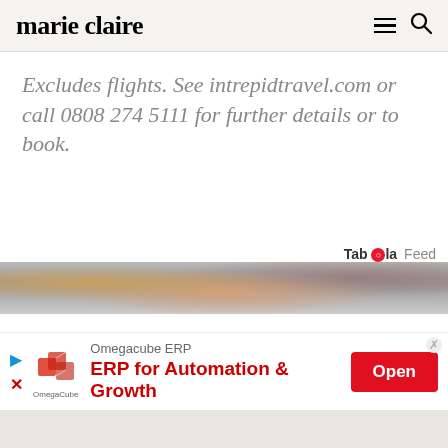marie claire
Excludes flights. See intrepidtravel.com or call 0808 274 5111 for further details or to book.
[Figure (screenshot): Taboola Feed label with logo in upper right area]
[Figure (photo): Photo strip showing blurred crowd/faces at top of content feed]
[Figure (screenshot): Advertisement banner for Omegacube ERP: ERP for Automation & Growth, with Open button]